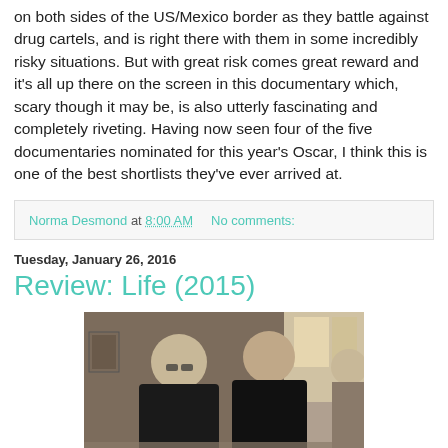on both sides of the US/Mexico border as they battle against drug cartels, and is right there with them in some incredibly risky situations. But with great risk comes great reward and it's all up there on the screen in this documentary which, scary though it may be, is also utterly fascinating and completely riveting. Having now seen four of the five documentaries nominated for this year's Oscar, I think this is one of the best shortlists they've ever arrived at.
Norma Desmond at 8:00 AM   No comments:
Tuesday, January 26, 2016
Review: Life (2015)
[Figure (photo): Two young men sitting at a table in what appears to be a diner or cafe, one leaning forward, photographed in a moody indoor setting]